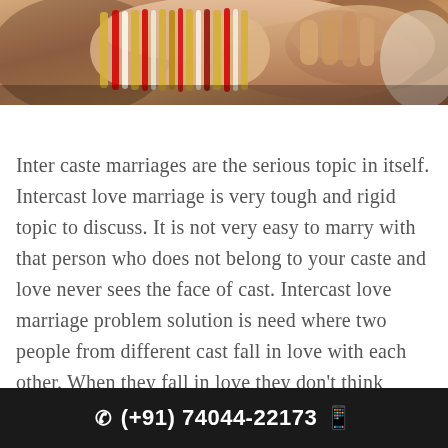[Figure (photo): Close-up photo of hands clasped together, one hand wearing colorful bangles (gold, red, white), suggesting an Indian wedding or inter-caste marriage context.]
Inter caste marriages are the serious topic in itself. Intercast love marriage is very tough and rigid topic to discuss. It is not very easy to marry with that person who does not belong to your caste and love never sees the face of cast. Intercast love marriage problem solution is need where two people from different cast fall in love with each other. When they fall in love they don't think about their different cast that occur many barricades n the upcoming future. The love birds have to face a lot of troubles not only from the family, but also from the society and religion. Parents especially
(+91) 74044-22173